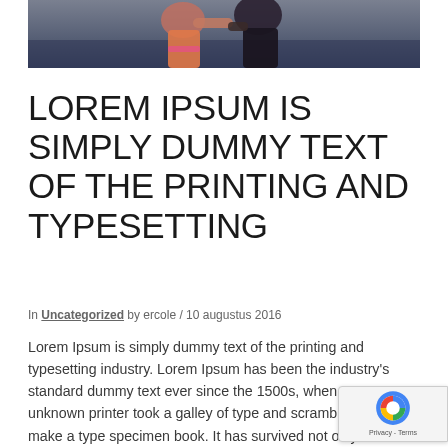[Figure (photo): Cropped photo of two people dancing or posing, partial view showing torsos and arms against a dark/blue background]
LOREM IPSUM IS SIMPLY DUMMY TEXT OF THE PRINTING AND TYPESETTING
In Uncategorized by ercole / 10 augustus 2016
Lorem Ipsum is simply dummy text of the printing and typesetting industry. Lorem Ipsum has been the industry's standard dummy text ever since the 1500s, when an unknown printer took a galley of type and scrambled it to make a type specimen book. It has survived not only five centuries, but also the leap into electronic typesetting, remaining essentially unchanged. It was popularised in the 1960s with the release of Letraset sheets containing Lorem Ipsum passages, and more recently with desktop publishing software like Aldus PageMaker including versions of Lorem